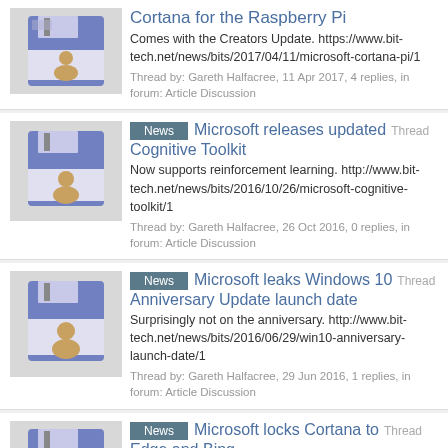Cortana for the Raspberry Pi
Comes with the Creators Update. https://www.bit-tech.net/news/bits/2017/04/11/microsoft-cortana-pi/1
Thread by: Gareth Halfacree, 11 Apr 2017, 4 replies, in forum: Article Discussion
News | Microsoft releases updated Cognitive Toolkit
Now supports reinforcement learning. http://www.bit-tech.net/news/bits/2016/10/26/microsoft-cognitive-toolkit/1
Thread by: Gareth Halfacree, 26 Oct 2016, 0 replies, in forum: Article Discussion
News | Microsoft leaks Windows 10 Anniversary Update launch date
Surprisingly not on the anniversary. http://www.bit-tech.net/news/bits/2016/06/29/win10-anniversary-launch-date/1
Thread by: Gareth Halfacree, 29 Jun 2016, 1 replies, in forum: Article Discussion
News | Microsoft locks Cortana to Edge and Bing
For the users' own good, of course. http://www.bit-tech.net/news/bits/2016/04/29/microsoft-locks-cortana/1
Thread by: Gareth Halfacree, 29 Apr 2016, 29 replies, in forum: